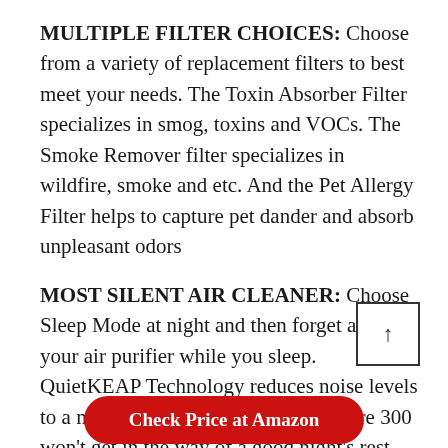MULTIPLE FILTER CHOICES: Choose from a variety of replacement filters to best meet your needs. The Toxin Absorber Filter specializes in smog, toxins and VOCs. The Smoke Remover filter specializes in wildfire, smoke and etc. And the Pet Allergy Filter helps to capture pet dander and absorb unpleasant odors
MOST SILENT AIR CLEANER: Choose Sleep Mode at night and then forget all about your air purifier while you sleep. QuietKEAP Technology reduces noise levels to a near-silent 24dB, ensuring the Core 300 won't get in the way of a good night's rest
Check Price at Amazon